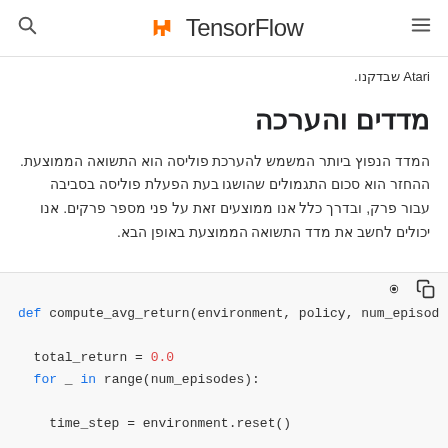TensorFlow
Atari שבדקנו.
מדדים והערכה
המדד הנפוץ ביותר המשמש להערכת פוליסה הוא התשואה הממוצעת. ההחזר הוא סכום התגמולים שהושגו בעת הפעלת פוליסה בסביבה עבור פרק, ובדרך כלל אנו ממוצעים זאת על פני מספר פרקים. אנו יכולים לחשב את מדד התשואה הממוצעת באופן הבא.
[Figure (screenshot): Code block showing Python function definition: def compute_avg_return(environment, policy, num_episod... with total_return = 0.0, for _ in range(num_episodes):, time_step = environment.reset()]